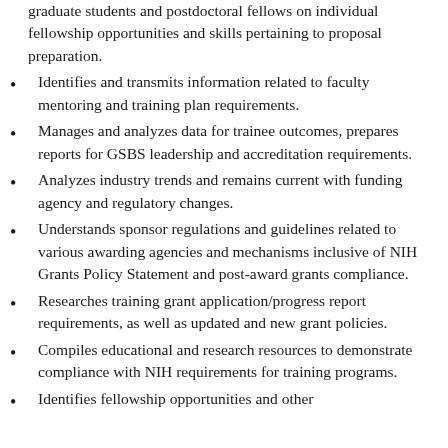graduate students and postdoctoral fellows on individual fellowship opportunities and skills pertaining to proposal preparation.
Identifies and transmits information related to faculty mentoring and training plan requirements.
Manages and analyzes data for trainee outcomes, prepares reports for GSBS leadership and accreditation requirements.
Analyzes industry trends and remains current with funding agency and regulatory changes.
Understands sponsor regulations and guidelines related to various awarding agencies and mechanisms inclusive of NIH Grants Policy Statement and post-award grants compliance.
Researches training grant application/progress report requirements, as well as updated and new grant policies.
Compiles educational and research resources to demonstrate compliance with NIH requirements for training programs.
Identifies fellowship opportunities and other